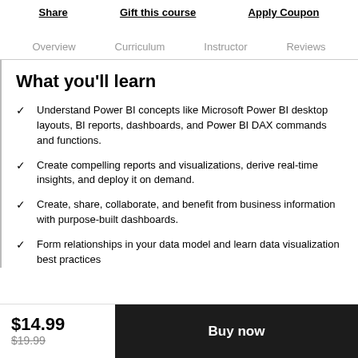Share   Gift this course   Apply Coupon
Overview   Curriculum   Instructor   Reviews
What you'll learn
Understand Power BI concepts like Microsoft Power BI desktop layouts, BI reports, dashboards, and Power BI DAX commands and functions.
Create compelling reports and visualizations, derive real-time insights, and deploy it on demand.
Create, share, collaborate, and benefit from business information with purpose-built dashboards.
Form relationships in your data model and learn data visualization best practices
$14.99  $19.99  Buy now